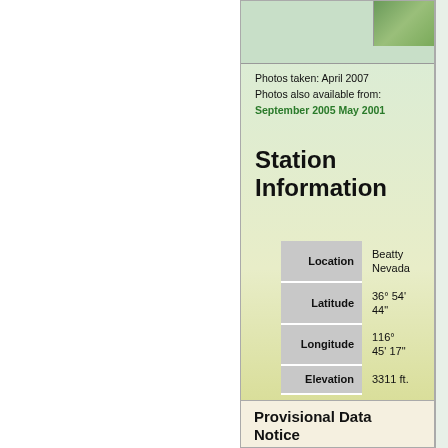[Figure (photo): Partial green-tinted photo strip at the top of the station panel with a thumbnail image of trees/vegetation]
Photos taken: April 2007
Photos also available from:
September 2005 May 2001
Station Information
| Field | Value |
| --- | --- |
| Location | Beatty Nevada |
| Latitude | 36° 54' 44" |
| Longitude | 116° 45' 17" |
| Elevation | 3311 ft. |
Provisional Data Notice